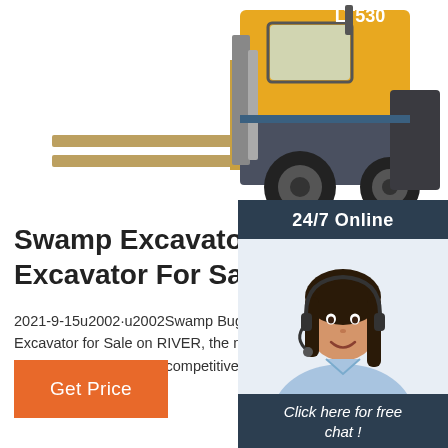[Figure (illustration): Yellow and grey forklift truck labeled LT530, partially cropped at top of page, showing forks, tires, and cab]
[Figure (photo): Customer service sidebar widget with dark blue background, '24/7 Online' header, photo of smiling woman with headset, 'Click here for free chat!' text, and orange QUOTATION button]
Swamp Excavator And Amph Excavator For Sale ...
2021-9-15u2002·u2002Swamp Buggy and Amphibious Excavator for Sale on RIVER, the machine are with factory quality and competitive prices.
Get Price